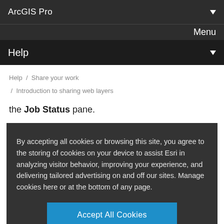ArcGIS Pro
Menu
Help
Help / Share your work / Introduction to sharing web layers
the Job Status pane.
By accepting all cookies or browsing this site, you agree to the storing of cookies on your device to assist Esri in analyzing visitor behavior, improving your experience, and delivering tailored advertising on and off our sites. Manage cookies here or at the bottom of any page.
Accept All Cookies
Cookies Settings